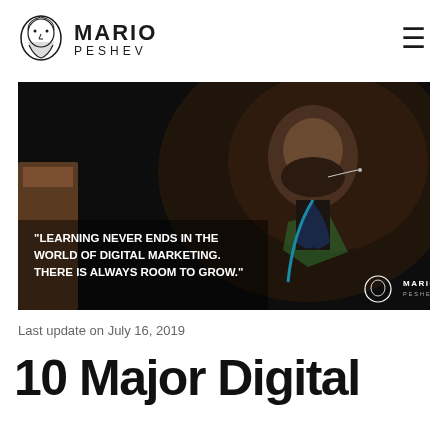MARIO PESHEV
[Figure (photo): Mario Peshev speaking at a conference, wearing a dark t-shirt with a lanyard, looking upward. Overlaid quote text: "LEARNING NEVER ENDS IN THE WORLD OF DIGITAL MARKETING. THERE IS ALWAYS ROOM TO GROW." Mario Peshev watermark logo at bottom right.]
Last update on July 16, 2019
10 Major Digital